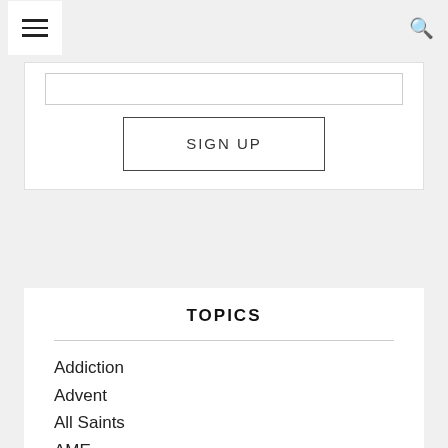☰  🔍
SIGN UP
TOPICS
Addiction
Advent
All Saints
AME
AME Zion